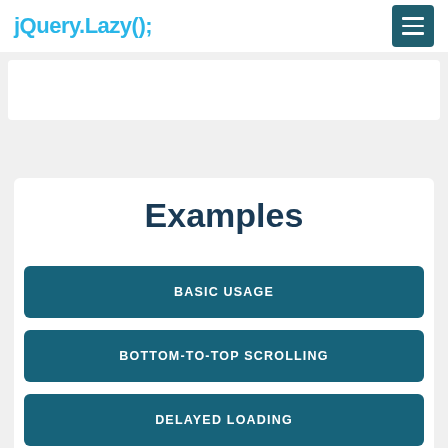jQuery.Lazy();
Examples
BASIC USAGE
BOTTOM-TO-TOP SCROLLING
DELAYED LOADING